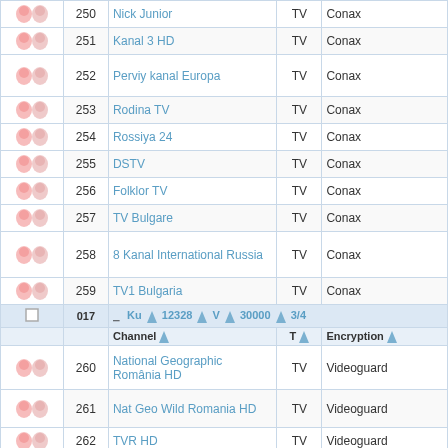|  | # | Channel | T | Encryption |
| --- | --- | --- | --- | --- |
| icons | 250 | Nick Junior | TV | Conax |
| icons | 251 | Kanal 3 HD | TV | Conax |
| icons | 252 | Perviy kanal Europa | TV | Conax |
| icons | 253 | Rodina TV | TV | Conax |
| icons | 254 | Rossiya 24 | TV | Conax |
| icons | 255 | DSTV | TV | Conax |
| icons | 256 | Folklor TV | TV | Conax |
| icons | 257 | TV Bulgare | TV | Conax |
| icons | 258 | 8 Kanal International Russia | TV | Conax |
| icons | 259 | TV1 Bulgaria | TV | Conax |
| tp-separator | 017 | Ku 12328 V 30000 3/4 |  |  |
| col-header |  | Channel | T | Encryption |
| icons | 260 | National Geographic România HD | TV | Videoguard |
| icons | 261 | Nat Geo Wild Romania HD | TV | Videoguard |
| icons | 262 | TVR HD | TV | Videoguard |
| icons | 263 | Pro TV HD | TV | Videoguard |
| icons | 264 | Antena 1 HD | TV | Videoguard |
| icons | 265 | Viasat History | TV | Videoguard |